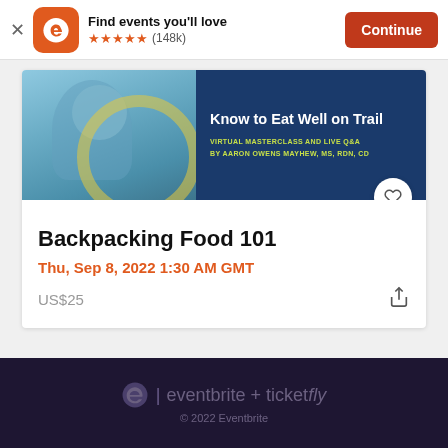[Figure (screenshot): Eventbrite app install banner with orange logo, 5 stars, (148k) reviews, and Continue button]
[Figure (photo): Event banner image showing person holding food bag on trail, with dark blue panel saying 'Know to Eat Well on Trail - Virtual Masterclass and Live Q&A by Aaron Owens Mayhew, MS, RDN, CD']
Backpacking Food 101
Thu, Sep 8, 2022 1:30 AM GMT
US$25
eventbrite + ticketfly
© 2022 Eventbrite